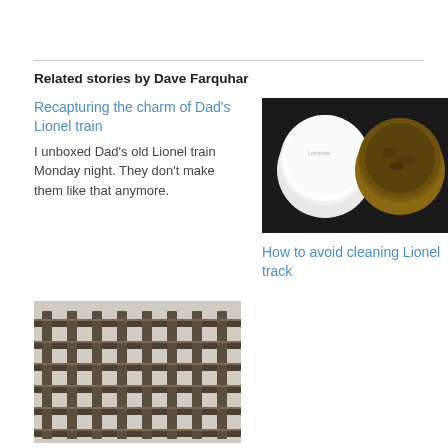Related stories by Dave Farquhar
Recapturing the charm of Dad's Lionel train
I unboxed Dad's old Lionel train Monday night. They don't make them like that anymore.
[Figure (photo): Two small round containers/cans on a dark surface, one white lid and one with dark brownish paste inside.]
How to avoid cleaning Lionel track
[Figure (photo): Close-up photo of Lionel T-Rail track showing the cross-tie grid pattern in dark metal.]
Lionel T-Rail track